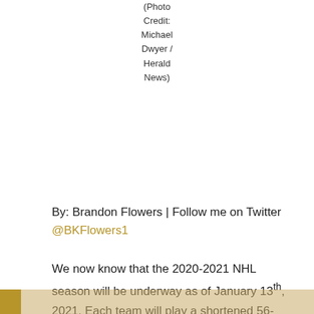(Photo Credit: Michael Dwyer / Herald News)
By: Brandon Flowers | Follow me on Twitter @BKFlowers1
We now know that the 2020-2021 NHL season will be underway as of January 13th, 2021. Each team will play a shortened 56-game season and be split up over 4 new realigned divisions (North, East, Central, West). The Bruins already have a few key players that will miss the start of the season due to injury, that is Brad Marchand and David Pastrnak. Having those two guys missing for the start of the season is tough when they are your two